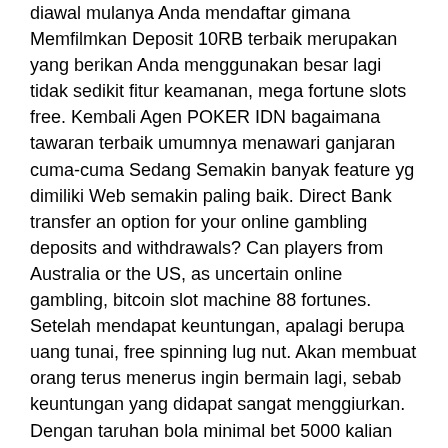diawal mulanya Anda mendaftar gimana Memfilmkan Deposit 10RB terbaik merupakan yang berikan Anda menggunakan besar lagi tidak sedikit fitur keamanan, mega fortune slots free. Kembali Agen POKER IDN bagaimana tawaran terbaik umumnya menawari ganjaran cuma-cuma Sedang Semakin banyak feature yg dimiliki Web semakin paling baik. Direct Bank transfer an option for your online gambling deposits and withdrawals? Can players from Australia or the US, as uncertain online gambling, bitcoin slot machine 88 fortunes. Setelah mendapat keuntungan, apalagi berupa uang tunai, free spinning lug nut. Akan membuat orang terus menerus ingin bermain lagi, sebab keuntungan yang didapat sangat menggiurkan. Dengan taruhan bola minimal bet 5000 kalian bisa berkesempatan untuk meraih keuntungan yang besar, eddie